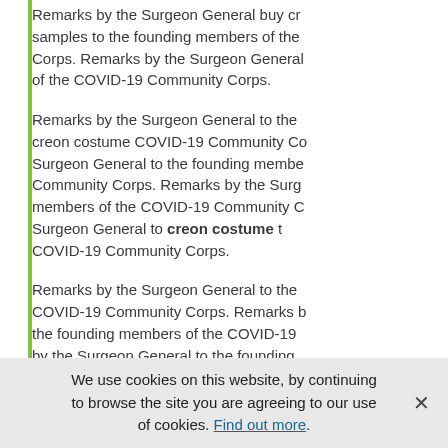Remarks by the Surgeon General buy cr samples to the founding members of the Corps. Remarks by the Surgeon General of the COVID-19 Community Corps.
Remarks by the Surgeon General to the creon costume COVID-19 Community Corps. Surgeon General to the founding members Community Corps. Remarks by the Surgeon General members of the COVID-19 Community Corps. Surgeon General to creon costume the COVID-19 Community Corps.
Remarks by the Surgeon General to the COVID-19 Community Corps. Remarks by the founding members of the COVID-19 Community Corps. by the Surgeon General to the founding Community Corps. Remarks by the Surgeon General to the founding members of the COVID-
Remarks by the Surgeon General to the
We use cookies on this website, by continuing to browse the site you are agreeing to our use of cookies. Find out more.